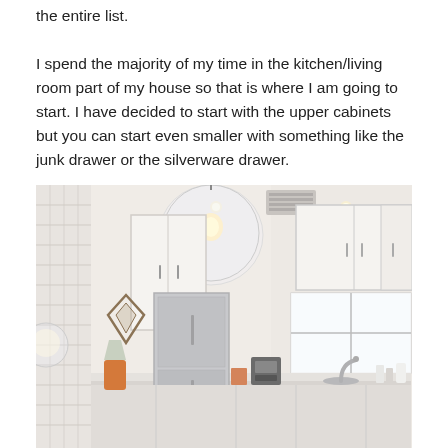the entire list.

I spend the majority of my time in the kitchen/living room part of my house so that is where I am going to start. I have decided to start with the upper cabinets but you can start even smaller with something like the junk drawer or the silverware drawer.
[Figure (photo): A bright, modern white kitchen with white shaker-style upper cabinets, stainless steel refrigerator, a clear glass globe pendant light hanging from the ceiling, a coffee maker on the counter, a window above the sink area, and a wall with white subway tiles visible on the left side. An orange lamp is visible in the background.]